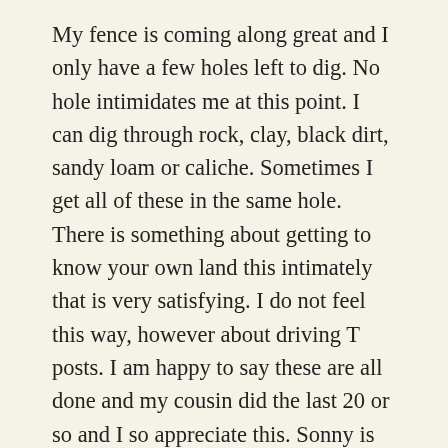My fence is coming along great and I only have a few holes left to dig. No hole intimidates me at this point. I can dig through rock, clay, black dirt, sandy loam or caliche. Sometimes I get all of these in the same hole. There is something about getting to know your own land this intimately that is very satisfying. I do not feel this way, however about driving T posts. I am happy to say these are all done and my cousin did the last 20 or so and I so appreciate this. Sonny is also helping me set all the posts and we have about 15 left, then we put in the H braces, stretch the wire and set the gates. Most of the hardest and time consuming work is done. I am still wanting to do the entrance in pipe but it has been a challenge to get someone out for my small project, especially now that the temperature is staying in the upper 90s and the humidity is high. Not good fencing weather. The person who was originally going to cut and set the pipe posts dropped the pipe off on my property